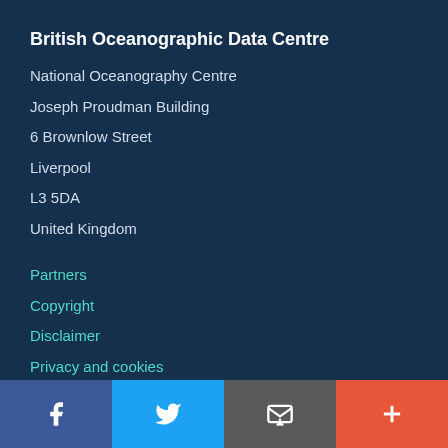British Oceanographic Data Centre
National Oceanography Centre
Joseph Proudman Building
6 Brownlow Street
Liverpool
L3 5DA
United Kingdom
Partners
Copyright
Disclaimer
Privacy and cookies
Follow us on:
[Figure (infographic): Social media icon circles (Facebook, Twitter, other) in dark blue circles]
Social media bar with Facebook, Twitter, Email/envelope, and More (+) icons